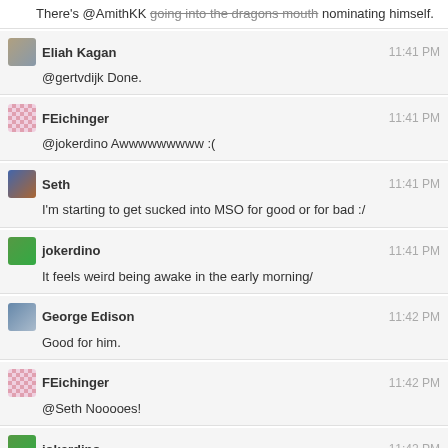There's @AmithKK going into the dragons mouth nominating himself.
Eliah Kagan 11:41 PM @gertvdijk Done.
FEichinger 11:41 PM @jokerdino Awwwwwwwww :(
Seth 11:41 PM I'm starting to get sucked into MSO for good or for bad :/
jokerdino 11:41 PM It feels weird being awake in the early morning/
George Edison 11:42 PM Good for him.
FEichinger 11:42 PM @Seth Nooooes!
jokerdino 11:42 PM @Seth Haha. I was slightly into MSO.
Seth 11:42 PM :)